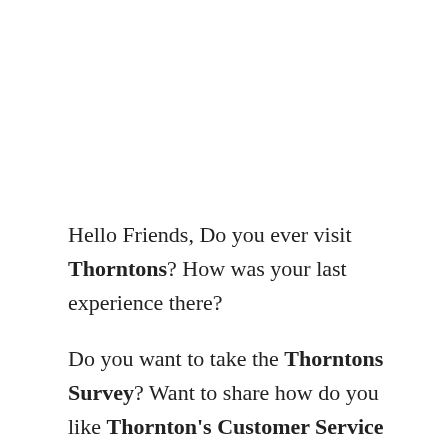Hello Friends, Do you ever visit Thorntons? How was your last experience there?
Do you want to take the Thorntons Survey? Want to share how do you like Thornton's Customer Service and Thornton's Atmosphere?